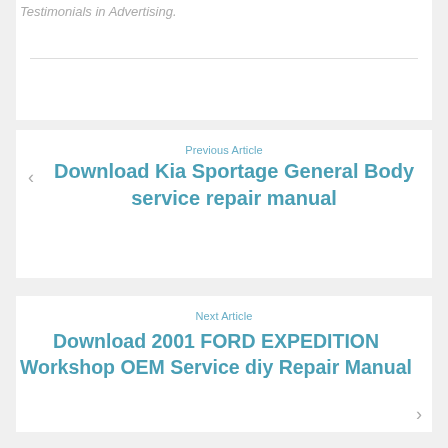Testimonials in Advertising.
Previous Article
Download Kia Sportage General Body service repair manual
Next Article
Download 2001 FORD EXPEDITION Workshop OEM Service diy Repair Manual